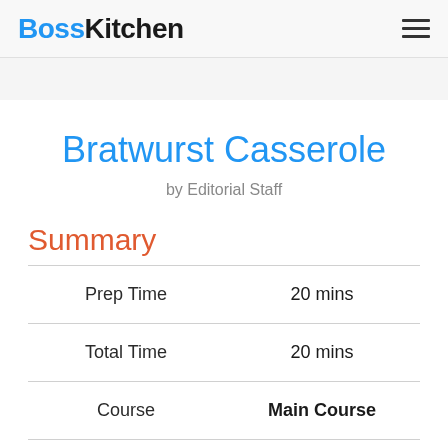BossKitchen
Bratwurst Casserole
by Editorial Staff
Summary
|  |  |
| --- | --- |
| Prep Time | 20 mins |
| Total Time | 20 mins |
| Course | Main Course |